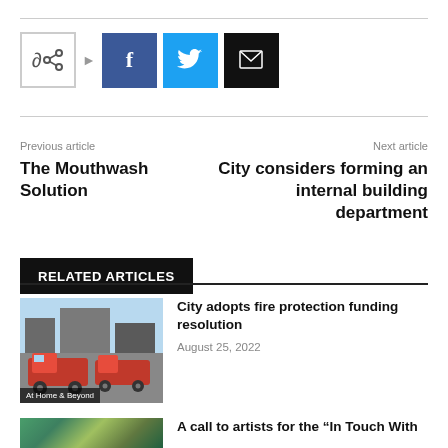[Figure (infographic): Social share buttons: share icon, Facebook (f), Twitter (bird), Email (envelope)]
Previous article
The Mouthwash Solution
Next article
City considers forming an internal building department
RELATED ARTICLES
[Figure (photo): Fire trucks parked at a station; label reads 'At Home & Beyond']
City adopts fire protection funding resolution
August 25, 2022
[Figure (photo): Colorful artistic image for second related article]
A call to artists for the “In Touch With